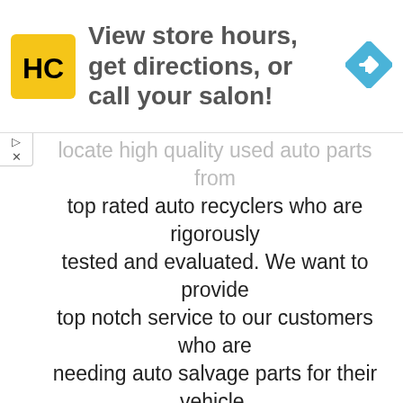[Figure (logo): HC logo in yellow rounded square, ad banner with text 'View store hours, get directions, or call your salon!' and a blue diamond navigation arrow icon]
locate high quality used auto parts from top rated auto recyclers who are rigorously tested and evaluated. We want to provide top notch service to our customers who are needing auto salvage parts for their vehicle. No junk allowed with us!
buy junkyards in colorado and used auto parts with confidence!
Used Car Parts & Truck Parts Save You Money! Period.
All of the Junkyards in Colorado we locate for you are in grade A shape, and guaranteed to function and work properly or